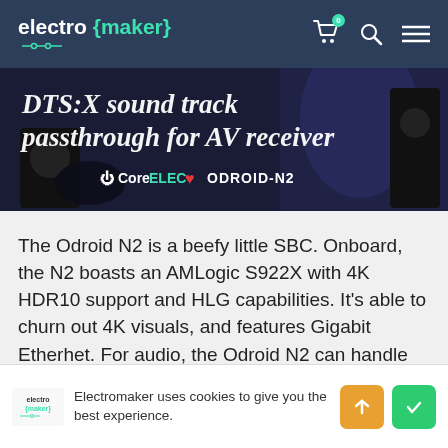electro {maker}
[Figure (photo): Banner image showing DTS:X sound track passthrough for AV receiver with CoreELEC and ODROID-N2 branding on dark blue background with audio equipment]
The Odroid N2 is a beefy little SBC. Onboard, the N2 boasts an AMLogic S922X with 4K HDR10 support and HLG capabilities. It's able to churn out 4K visuals, and features Gigabit Etherhet. For audio, the Odroid N2 can handle 7.1 HD audio for Dolby Atmos passthrough, DTS:X passthrough, and more.
Electromaker uses cookies to give you the best experience.